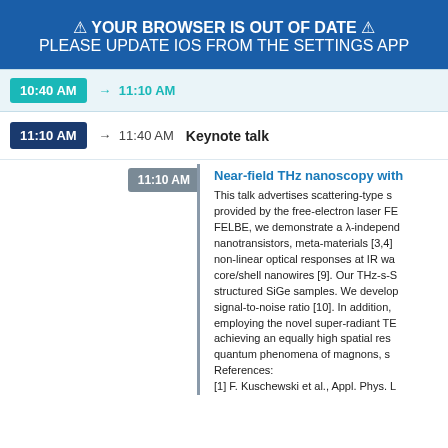⚠ YOUR BROWSER IS OUT OF DATE ⚠
PLEASE UPDATE IOS FROM THE SETTINGS APP
10:40 AM → 11:10 AM
11:10 AM → 11:40 AM  Keynote talk
11:10 AM
Near-field THz nanoscopy with
This talk advertises scattering-type s... provided by the free-electron laser FE... FELBE, we demonstrate a λ-independ... nanotransistors, meta-materials [3,4]... non-linear optical responses at IR wa... core/shell nanowires [9]. Our THz-s-S... structured SiGe samples. We develop... signal-to-noise ratio [10]. In addition,... employing the novel super-radiant TE... achieving an equally high spatial res... quantum phenomena of magnons, s... References: [1] F. Kuschewski et al., Appl. Phys. L...